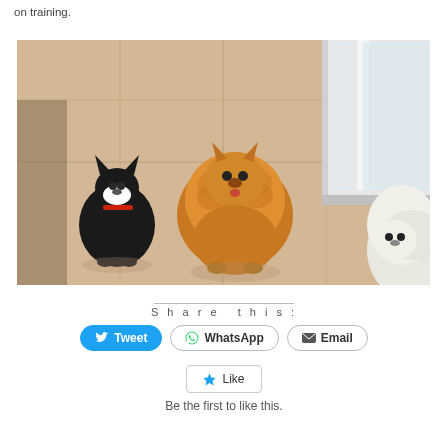on training.
[Figure (photo): Three small dogs sitting on a tiled floor near a window. A black and white Chihuahua on the left wearing a red collar, a fluffy orange Pomeranian in the center, and a white fluffy dog on the right partially visible.]
Share this:
Tweet  WhatsApp  Email
Like  Be the first to like this.